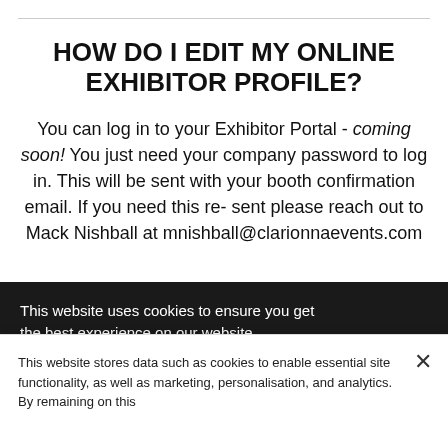HOW DO I EDIT MY ONLINE EXHIBITOR PROFILE?
You can log in to your Exhibitor Portal - coming soon! You just need your company password to log in. This will be sent with your booth confirmation email. If you need this re-sent please reach out to Mack Nishball at mnishball@clarionnaevents.com
This website uses cookies to ensure you get the best experience on our website.
Learn more
WHAT IS AN EAC?
This website stores data such as cookies to enable essential site functionality, as well as marketing, personalisation, and analytics. By remaining on this